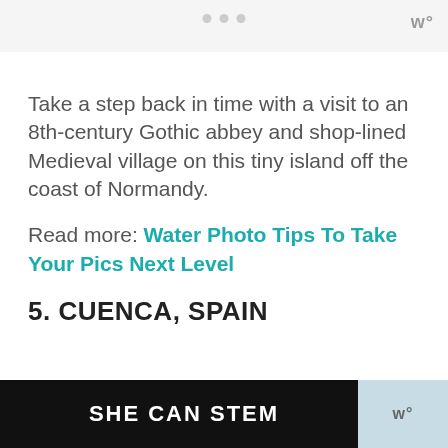···  W°
Take a step back in time with a visit to an 8th-century Gothic abbey and shop-lined Medieval village on this tiny island off the coast of Normandy.
Read more: Water Photo Tips To Take Your Pics Next Level
5. CUENCA, SPAIN
[Figure (other): Advertisement banner reading SHE CAN STEM with a W° logo on the right]